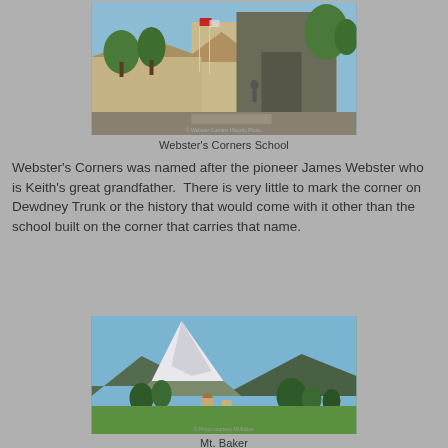[Figure (photo): Exterior photo of Webster's Corners School showing a building with flags, trees, and a person standing in front.]
Webster's Corners School
Webster's Corners was named after the pioneer James Webster who is Keith's great grandfather.  There is very little to mark the corner on Dewdney Trunk or the history that would come with it other than the school built on the corner that carries that name.
[Figure (photo): Photo of Mt. Baker with snow-capped peak visible above forested hills and green fields in the foreground under a clear blue sky.]
Mt. Baker